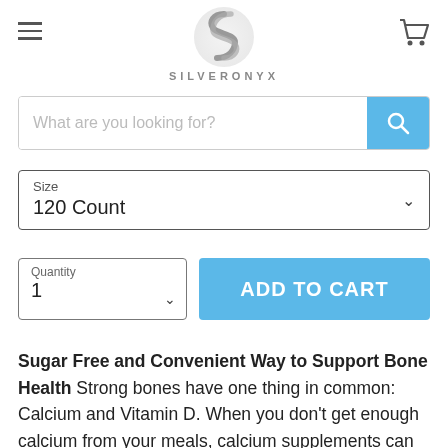[Figure (logo): SilverOnyx brand logo — stylized S in a circular shape, with text SILVERONYX below]
What are you looking for?
Size
120 Count
Quantity
1
ADD TO CART
Sugar Free and Convenient Way to Support Bone Health Strong bones have one thing in common: Calcium and Vitamin D. When you don't get enough calcium from your meals, calcium supplements can help fill the gaps. Vitamin D is needed by the body for calcium absorption, so your supplement should include